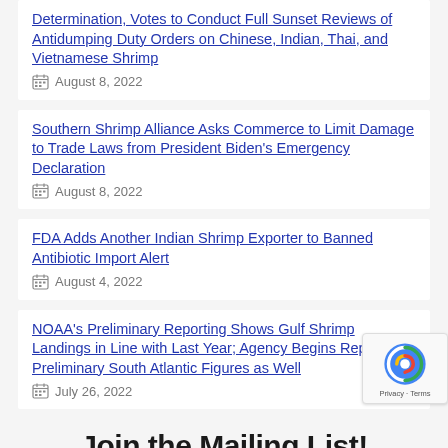Determination, Votes to Conduct Full Sunset Reviews of Antidumping Duty Orders on Chinese, Indian, Thai, and Vietnamese Shrimp — August 8, 2022
Southern Shrimp Alliance Asks Commerce to Limit Damage to Trade Laws from President Biden's Emergency Declaration — August 8, 2022
FDA Adds Another Indian Shrimp Exporter to Banned Antibiotic Import Alert — August 4, 2022
NOAA's Preliminary Reporting Shows Gulf Shrimp Landings in Line with Last Year; Agency Begins Reporting Preliminary South Atlantic Figures as Well — July 26, 2022
Join the Mailing List!